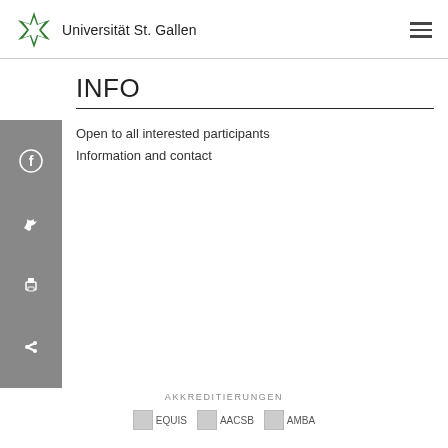Universität St. Gallen
INFO
Open to all interested participants
Information and contact
AKKREDITIERUNGEN  EQUIS  AACSB  AMBA